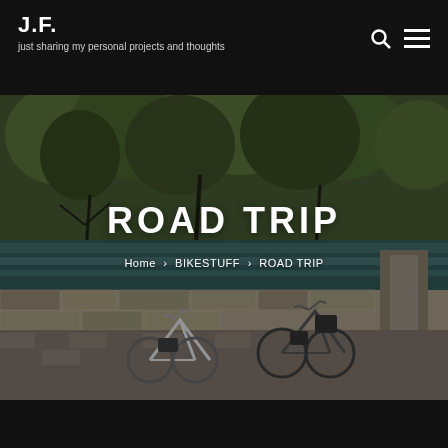J.F.
just sharing my personal projects and thoughts
[Figure (photo): Two bicycles leaning against a stone wall beside a river surrounded by green trees. Hero image for ROAD TRIP category page.]
ROAD TRIP
Home › BIKESTUFF › ROAD TRIP